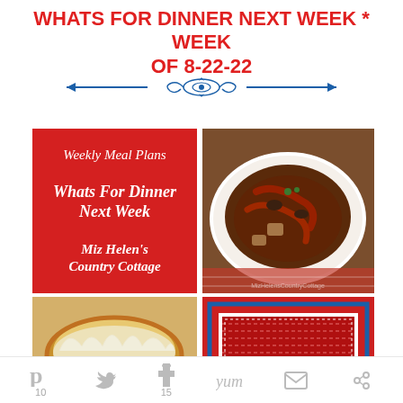WHATS FOR DINNER NEXT WEEK * WEEK OF 8-22-22
[Figure (illustration): Blue decorative ornamental divider with arrows and scrollwork]
[Figure (photo): Collage of four images: top-left red box with white italic text 'Weekly Meal Plans / Whats For Dinner Next Week / Miz Helen's Country Cottage'; top-right photo of braised beef stew with vegetables on a white plate; bottom-left photo of golden pastry/pie; bottom-right red and blue decorative frame/border]
10  15  (social share icons: Pinterest, Twitter, Facebook, Yum, Email, More)